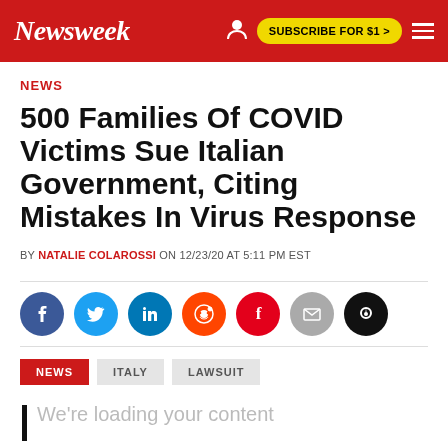Newsweek — SUBSCRIBE FOR $1 >
NEWS
500 Families Of COVID Victims Sue Italian Government, Citing Mistakes In Virus Response
BY NATALIE COLAROSSI ON 12/23/20 AT 5:11 PM EST
[Figure (infographic): Social media share icons: Facebook, Twitter, LinkedIn, Reddit, Flipboard, Email, Comment]
NEWS
ITALY
LAWSUIT
We're loading your content